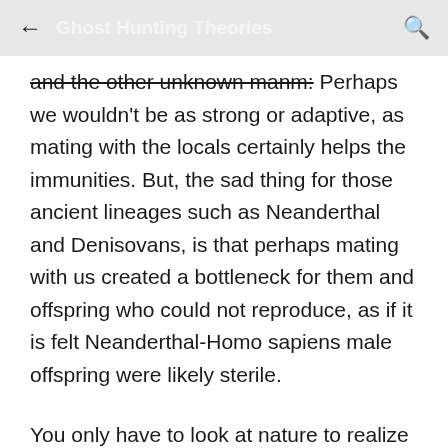← Ghost Hunting Theories 🔍
and the other unknown manm: Perhaps we wouldn't be as strong or adaptive, as mating with the locals certainly helps the immunities. But, the sad thing for those ancient lineages such as Neanderthal and Denisovans, is that perhaps mating with us created a bottleneck for them and offspring who could not reproduce, as if it is felt Neanderthal-Homo sapiens male offspring were likely sterile.
You only have to look at nature to realize how this can happen when a male lion mates with a female